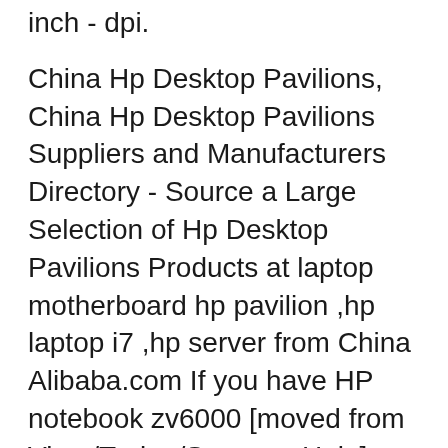inch - dpi.
China Hp Desktop Pavilions, China Hp Desktop Pavilions Suppliers and Manufacturers Directory - Source a Large Selection of Hp Desktop Pavilions Products at laptop motherboard hp pavilion ,hp laptop i7 ,hp server from China Alibaba.com If you have HP notebook zv6000 [moved from Virus/Trojan/Spyware Help] then we strongly recommend that you Download (HP notebook zv6000 [moved from Virus/Trojan/Spyware Help]) Repair Tool.
HP Pavilion zv6000 Workshop Repair Manual is a professional book in which you can get a better understanding of